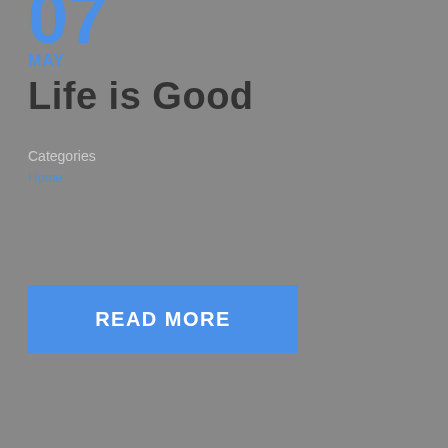07
MAY
Life is Good
Categories
Home
READ MORE